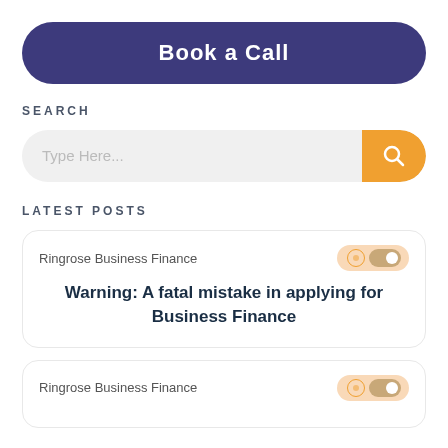Book a Call
SEARCH
[Figure (screenshot): Search bar with placeholder text 'Type Here...' and an orange search button on the right]
LATEST POSTS
Ringrose Business Finance
Warning: A fatal mistake in applying for Business Finance
Ringrose Business Finance